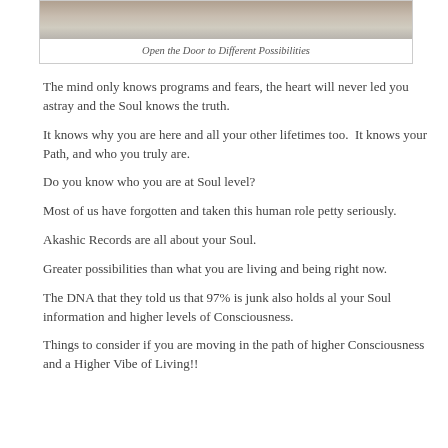[Figure (photo): Photograph of a stone or rock surface, partially visible at the top of the page within a bordered box.]
Open the Door to Different Possibilities
The mind only knows programs and fears, the heart will never led you astray and the Soul knows the truth.
It knows why you are here and all your other lifetimes too.  It knows your Path, and who you truly are.
Do you know who you are at Soul level?
Most of us have forgotten and taken this human role petty seriously.
Akashic Records are all about your Soul.
Greater possibilities than what you are living and being right now.
The DNA that they told us that 97% is junk also holds al your Soul information and higher levels of Consciousness.
Things to consider if you are moving in the path of higher Consciousness and a Higher Vibe of Living!!